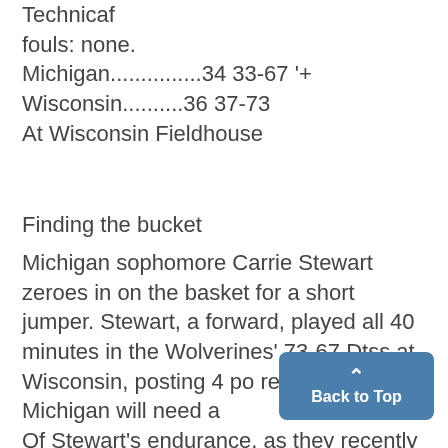Technicaf fouls: none. Michigan...............34 33-67 '+ Wisconsin..........36 37-73 At Wisconsin Fieldhouse
Finding the bucket
Michigan sophomore Carrie Stewart zeroes in on the basket for a short jumper. Stewart, a forward, played all 40 minutes in the Wolverines' 73-67 Dtss at Wisconsin, posting 4 po rebounds. Michigan will need a Of Stewart's endurance, as they recently